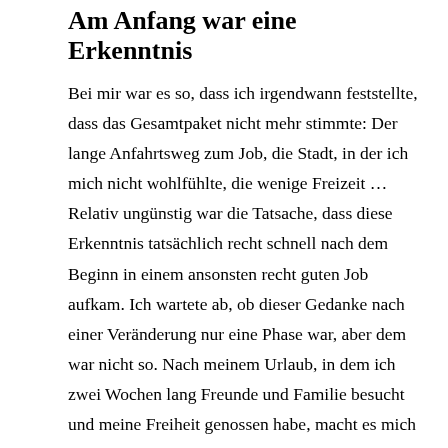Am Anfang war eine Erkenntnis
Bei mir war es so, dass ich irgendwann feststellte, dass das Gesamtpaket nicht mehr stimmte: Der lange Anfahrtsweg zum Job, die Stadt, in der ich mich nicht wohlfühlte, die wenige Freizeit … Relativ ungünstig war die Tatsache, dass diese Erkenntnis tatsächlich recht schnell nach dem Beginn in einem ansonsten recht guten Job aufkam. Ich wartete ab, ob dieser Gedanke nach einer Veränderung nur eine Phase war, aber dem war nicht so. Nach meinem Urlaub, in dem ich zwei Wochen lang Freunde und Familie besucht und meine Freiheit genossen habe, macht es mich echt fertig, wieder zur Arbeit zu müssen. Zu diesem Zeitpunkt wartete ich schon mehrere Monate auf einen passenden Zeitpunkt für die Kündigung, ohne in meinem Job allzu großes Chaos zu hinterlassen. Als dann alles zusammenpasste, ich Monate später meinen letzten